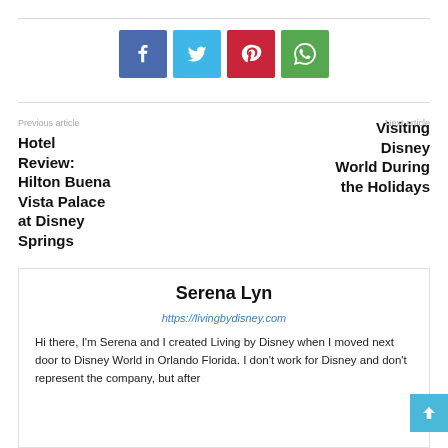[Figure (infographic): Social media share buttons: Facebook (blue), Twitter (light blue), Pinterest (red), WhatsApp (green)]
Previous article
Hotel Review: Hilton Buena Vista Palace at Disney Springs
Next article
Visiting Disney World During the Holidays
Serena Lyn
https://livingbydisney.com
Hi there, I'm Serena and I created Living by Disney when I moved next door to Disney World in Orlando Florida. I don't work for Disney and don't represent the company, but after